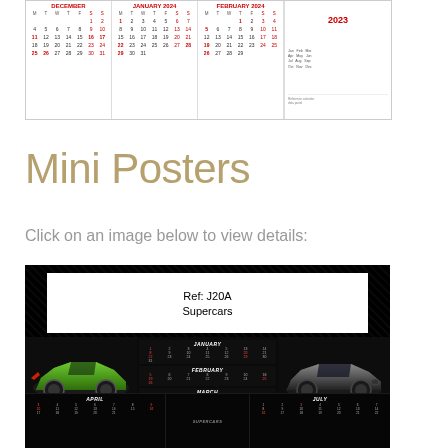[Figure (other): Calendar preview strip showing December, January 2024, February 2024 months with small date grids, and a 2023 reference panel on the right with red header]
Mini Posters
Click on an image below to view details:
[Figure (other): Mini poster product preview on black background showing Ref: J20A Supercars, with a white label box at top, green Lamborghini on left, grey Porsche on right, and small January/February/March calendar grids in the middle, plus April and July calendar panels at the bottom]